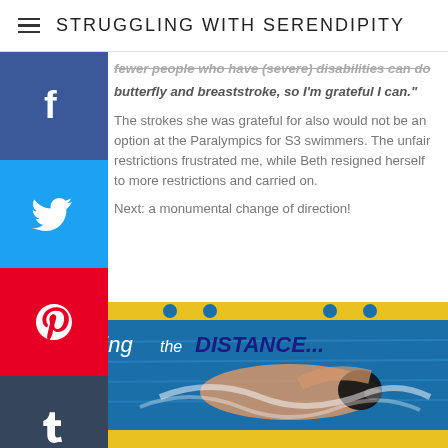STRUGGLING WITH SERENDIPITY
fewer people who have (severe) disabilities can do butterfly and breaststroke, so I'm grateful I can."
The strokes she was grateful for also would not be an option at the Paralympics for S3 swimmers. The unfair restrictions frustrated me, while Beth resigned herself to more restrictions and carried on.
Next: a monumental change of direction!
[Figure (photo): Swimmer in a pool with yellow lane markers, text overlay reading 'Going the DISTANCE...']